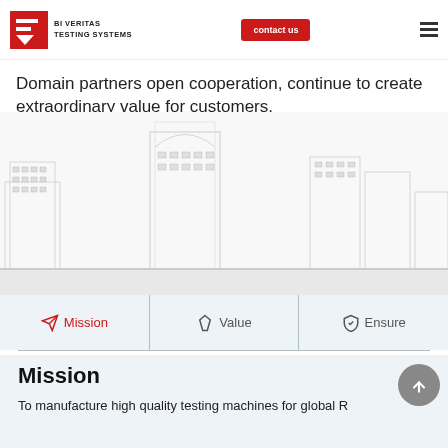BI VERITAS TESTING SYSTEMS | contact us
Domain partners open cooperation, continue to create extraordinary value for customers.
[Figure (illustration): Light gray city skyline illustration with multiple buildings]
Mission | Value | Ensure
Mission
To manufacture high quality testing machines for global R